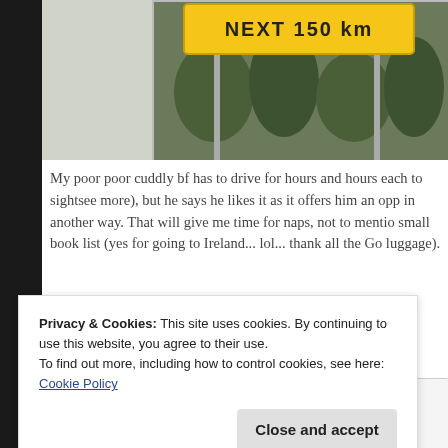[Figure (photo): Road sign reading NEXT 150 km with trees in background, partially visible at top of page]
My poor poor cuddly bf has to drive for hours and hours each to sightsee more), but he says he likes it as it offers him an opportunity in another way. That will give me time for naps, not to mention a small book list (yes for going to Ireland... lol... thank all the Gods luggage).
[Figure (illustration): Stack of books illustration with text 'I like BIG' visible on book spines]
Privacy & Cookies: This site uses cookies. By continuing to use this website, you agree to their use.
To find out more, including how to control cookies, see here:
Cookie Policy
Close and accept